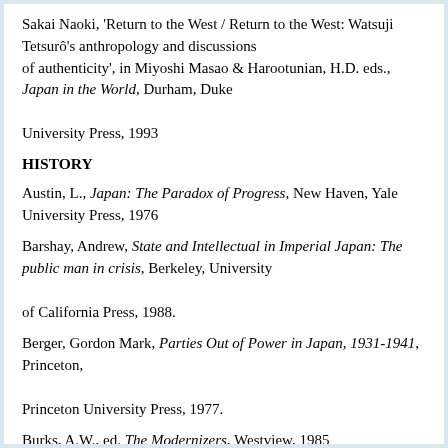Sakai Naoki, 'Return to the West / Return to the West: Watsuji Tetsurô's anthropology and discussions of authenticity', in Miyoshi Masao & Harootunian, H.D. eds., Japan in the World, Durham, Duke University Press, 1993
HISTORY
Austin, L., Japan: The Paradox of Progress, New Haven, Yale University Press, 1976
Barshay, Andrew, State and Intellectual in Imperial Japan: The public man in crisis, Berkeley, University of California Press, 1988.
Berger, Gordon Mark, Parties Out of Power in Japan, 1931-1941, Princeton, Princeton University Press, 1977.
Burks, A.W., ed. The Modernizers, Westview, 1985
Crowley, James B., ed., Dilemmas of growth in pre-war Japan, Princeton, Princeton University Press,